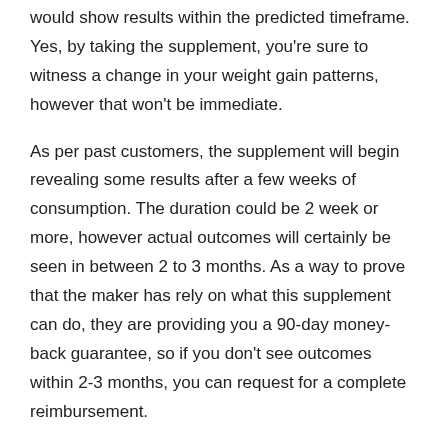would show results within the predicted timeframe. Yes, by taking the supplement, you're sure to witness a change in your weight gain patterns, however that won't be immediate.
As per past customers, the supplement will begin revealing some results after a few weeks of consumption. The duration could be 2 week or more, however actual outcomes will certainly be seen in between 2 to 3 months. As a way to prove that the maker has rely on what this supplement can do, they are providing you a 90-day money-back guarantee, so if you don't see outcomes within 2-3 months, you can request for a complete reimbursement.
Learn More About Biofit Legit Here ->
After taking this supplement according to the supplier's standards, you need to anticipate your recently achieved healthy and trim body to last. In many instances, if you preserve a healthy and